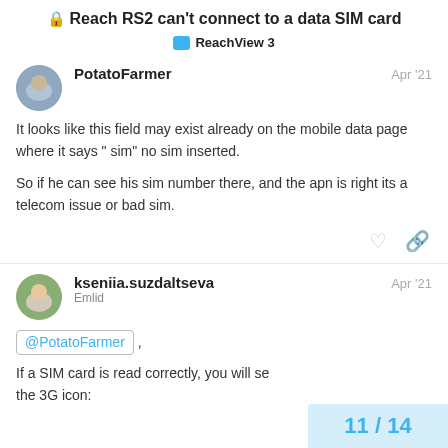Reach RS2 can't connect to a data SIM card
ReachView 3
PotatoFarmer  Apr '21
It looks like this field may exist already on the mobile data page where it says " sim" no sim inserted.

So if he can see his sim number there, and the apn is right its a telecom issue or bad sim.
kseniia.suzdaltseva  Emlid  Apr '21
@PotatoFarmer ,

If a SIM card is read correctly, you will see the 3G icon:
11 / 14